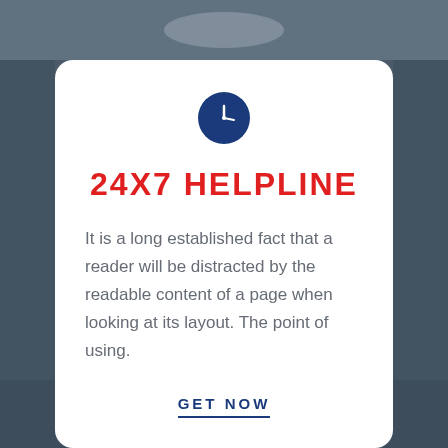[Figure (illustration): Dark blurred background photo of a desk/office scene]
[Figure (illustration): Blue circular clock icon with white clock hands inside]
24X7 HELPLINE
It is a long established fact that a reader will be distracted by the readable content of a page when looking at its layout. The point of using.
GET NOW